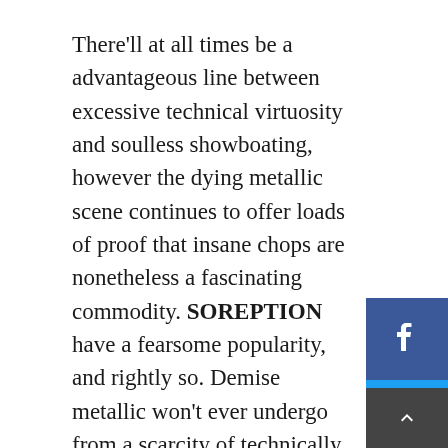There'll at all times be a advantageous line between excessive technical virtuosity and soulless showboating, however the dying metallic scene continues to offer loads of proof that insane chops are nonetheless a fascinating commodity. SOREPTION have a fearsome popularity, and rightly so. Demise metallic won't ever undergo from a scarcity of technically adept bands. Current instances have seen the ante upped on a routine foundation, and this Swedish crew have at all times been a minimize above the overwhelming majority of their friends. By pulling off the audacious trick of being as exact and devastating because it will get and exhibiting extra groove and swing than one would usually affiliate with the tech-death scene, SOREPTION have constantly